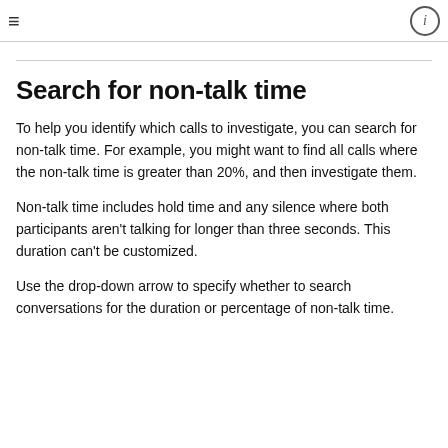≡  ⓘ
Search for non-talk time
To help you identify which calls to investigate, you can search for non-talk time. For example, you might want to find all calls where the non-talk time is greater than 20%, and then investigate them.
Non-talk time includes hold time and any silence where both participants aren't talking for longer than three seconds. This duration can't be customized.
Use the drop-down arrow to specify whether to search conversations for the duration or percentage of non-talk time.